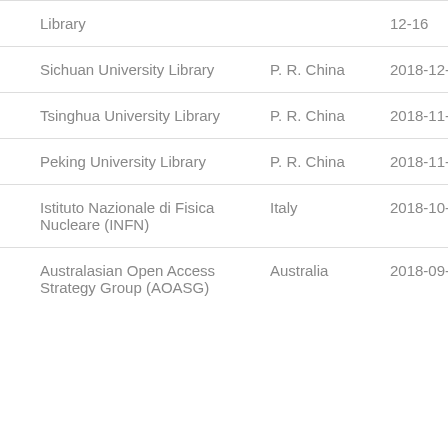| Institution | Country | Date |
| --- | --- | --- |
| Library |  | 12-16 |
| Sichuan University Library | P. R. China | 2018-12-10 |
| Tsinghua University Library | P. R. China | 2018-11-21 |
| Peking University Library | P. R. China | 2018-11-16 |
| Istituto Nazionale di Fisica Nucleare (INFN) | Italy | 2018-10-23 |
| Australasian Open Access Strategy Group (AOASG) | Australia | 2018-09-24 |